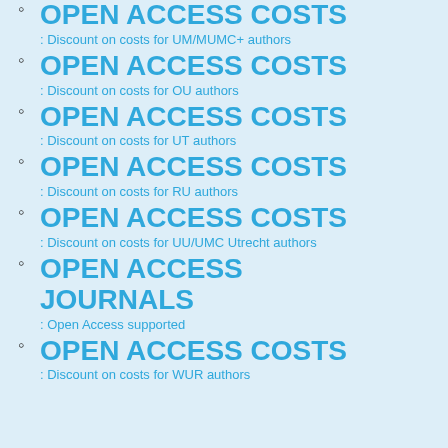OPEN ACCESS COSTS: Discount on costs for UM/MUMC+ authors
OPEN ACCESS COSTS: Discount on costs for OU authors
OPEN ACCESS COSTS: Discount on costs for UT authors
OPEN ACCESS COSTS: Discount on costs for RU authors
OPEN ACCESS COSTS: Discount on costs for UU/UMC Utrecht authors
OPEN ACCESS JOURNALS: Open Access supported
OPEN ACCESS COSTS: Discount on costs for WUR authors